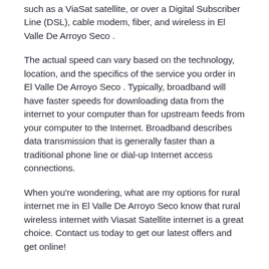such as a ViaSat satellite, or over a Digital Subscriber Line (DSL), cable modem, fiber, and wireless in El Valle De Arroyo Seco .
The actual speed can vary based on the technology, location, and the specifics of the service you order in El Valle De Arroyo Seco . Typically, broadband will have faster speeds for downloading data from the internet to your computer than for upstream feeds from your computer to the Internet. Broadband describes data transmission that is generally faster than a traditional phone line or dial-up Internet access connections.
When you're wondering, what are my options for rural internet me in El Valle De Arroyo Seco know that rural wireless internet with Viasat Satellite internet is a great choice. Contact us today to get our latest offers and get online!
Can You Get Internet Over